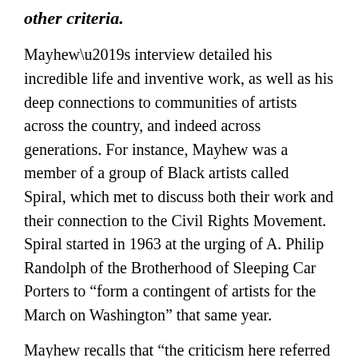other criteria.
Mayhew’s interview detailed his incredible life and inventive work, as well as his deep connections to communities of artists across the country, and indeed across generations. For instance, Mayhew was a member of a group of Black artists called Spiral, which met to discuss both their work and their connection to the Civil Rights Movement. Spiral started in 1963 at the urging of A. Philip Randolph of the Brotherhood of Sleeping Car Porters to “form a contingent of artists for the March on Washington” that same year.
Mayhew recalls that “the criticism here referred to all